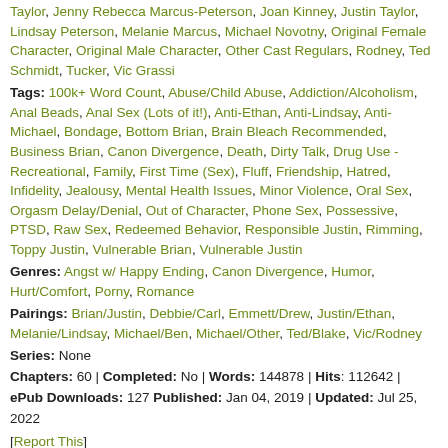Taylor, Jenny Rebecca Marcus-Peterson, Joan Kinney, Justin Taylor, Lindsay Peterson, Melanie Marcus, Michael Novotny, Original Female Character, Original Male Character, Other Cast Regulars, Rodney, Ted Schmidt, Tucker, Vic Grassi
Tags: 100k+ Word Count, Abuse/Child Abuse, Addiction/Alcoholism, Anal Beads, Anal Sex (Lots of it!), Anti-Ethan, Anti-Lindsay, Anti-Michael, Bondage, Bottom Brian, Brain Bleach Recommended, Business Brian, Canon Divergence, Death, Dirty Talk, Drug Use - Recreational, Family, First Time (Sex), Fluff, Friendship, Hatred, Infidelity, Jealousy, Mental Health Issues, Minor Violence, Oral Sex, Orgasm Delay/Denial, Out of Character, Phone Sex, Possessive, PTSD, Raw Sex, Redeemed Behavior, Responsible Justin, Rimming, Toppy Justin, Vulnerable Brian, Vulnerable Justin
Genres: Angst w/ Happy Ending, Canon Divergence, Humor, Hurt/Comfort, Porny, Romance
Pairings: Brian/Justin, Debbie/Carl, Emmett/Drew, Justin/Ethan, Melanie/Lindsay, Michael/Ben, Michael/Other, Ted/Blake, Vic/Rodney
Series: None
Chapters: 60 | Completed: No | Words: 144878 | Hits: 112642 | ePub Downloads: 127 Published: Jan 04, 2019 | Updated: Jul 25, 2022
[Report This]
The Call New! by MissMerlot
Rated: M • 32 Reviews ★★★★★
Summary:
[Figure (photo): Partial thumbnail image of a person, darkened/shadowed]